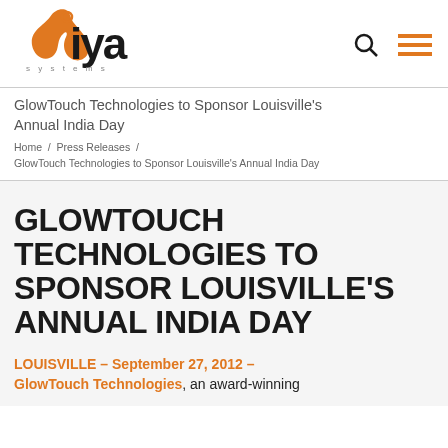[Figure (logo): Jiya Systems - A GlowTouch Company logo in orange and black]
GlowTouch Technologies to Sponsor Louisville's Annual India Day
Home / Press Releases / GlowTouch Technologies to Sponsor Louisville's Annual India Day
GLOWTOUCH TECHNOLOGIES TO SPONSOR LOUISVILLE'S ANNUAL INDIA DAY
LOUISVILLE – September 27, 2012 – GlowTouch Technologies, an award-winning